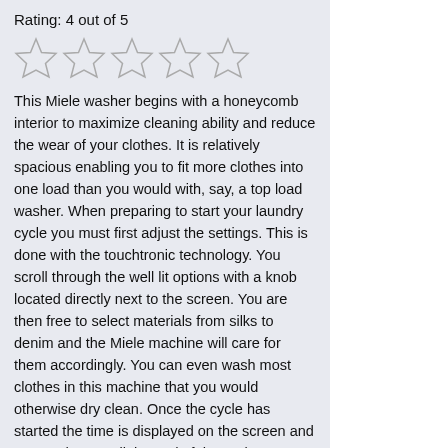Rating: 4 out of 5
[Figure (other): Five empty/outline star rating icons]
This Miele washer begins with a honeycomb interior to maximize cleaning ability and reduce the wear of your clothes. It is relatively spacious enabling you to fit more clothes into one load than you would with, say, a top load washer. When preparing to start your laundry cycle you must first adjust the settings. This is done with the touchtronic technology. You scroll through the well lit options with a knob located directly next to the screen. You are then free to select materials from silks to denim and the Miele machine will care for them accordingly. You can even wash most clothes in this machine that you would otherwise dry clean. Once the cycle has started the time is displayed on the screen and counts down until the end of the cycle.
This smart machine will also monitor all of your water lines connected to your machine. If a problem is detected that will affect your washing machine, it will notify you on the display screen. This machine is also great for anyone who has kids. It is complete with a heavy soil setting as well as a child lock feature. Other options are the